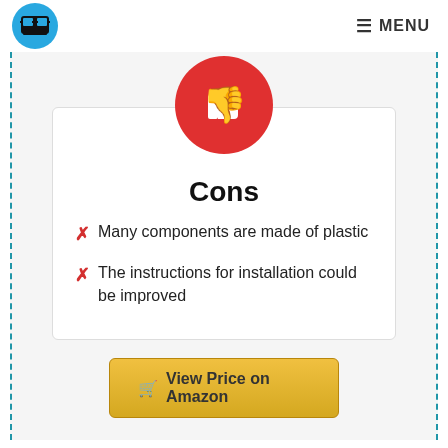MENU
[Figure (logo): Blue circle logo with pixel-art glasses icon]
[Figure (illustration): Red circle with white thumbs-down icon]
Cons
Many components are made of plastic
The instructions for installation could be improved
View Price on Amazon